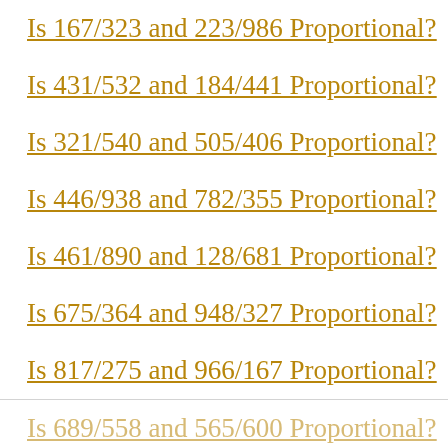Is 167/323 and 223/986 Proportional?
Is 431/532 and 184/441 Proportional?
Is 321/540 and 505/406 Proportional?
Is 446/938 and 782/355 Proportional?
Is 461/890 and 128/681 Proportional?
Is 675/364 and 948/327 Proportional?
Is 817/275 and 966/167 Proportional?
Is 689/558 and 565/600 Proportional?